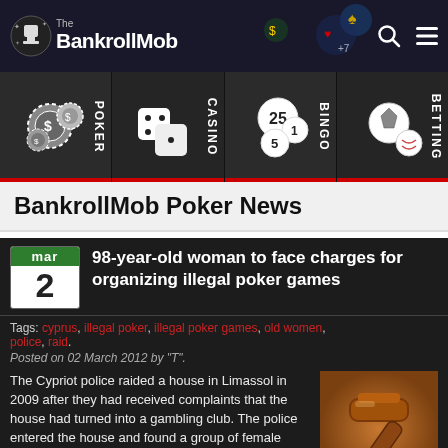The BankrollMob
[Figure (infographic): Navigation tiles for Poker, Casino, Bingo, Betting categories]
BankrollMob Poker News
98-year-old woman to face charges for organizing illegal poker games
Tags: cyprus, illegal poker, illegal poker games, old women, police, raid.
Posted on 02 March 2012 by "T".
The Cypriot police raided a house in Limassol in 2009 after they had received complaints that the house had turned into a gambling club. The police entered the house and found a group of female pensioners playing cards. The police recovered around €100 in stake money and confiscated playing cards and poker chips.
[Figure (photo): Judge gavel photo]
Two of the women have since the raid